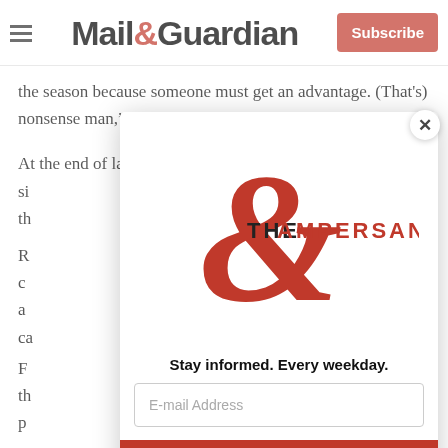Mail&Guardian — Subscribe
the season because someone must get an advantage. (That's) nonsense man," he says.
At the end of last season, Ajax Cape Town was in a si... th...
R... e c... a... ca...
F... th... p...
[Figure (logo): The Ampersand newsletter logo — large red ampersand symbol with 'THE AMPERSAND' text in dark/red letters]
Stay informed. Every weekday.
E-mail Address
Signup now